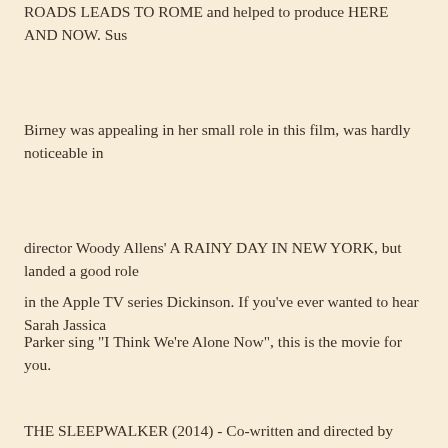ROADS LEADS TO ROME and helped to produce HERE AND NOW. Sus Birney was appealing in her small role in this film, was hardly noticeable in director Woody Allens' A RAINY DAY IN NEW YORK, but landed a good role in the Apple TV series Dickinson. If you've ever wanted to hear Sarah Jassica Parker sing "I Think We're Alone Now", this is the movie for you.
THE SLEEPWALKER (2014) - Co-written and directed by Norwegian born